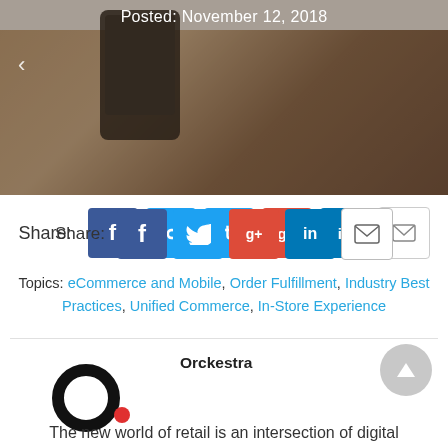[Figure (photo): Person holding a smartphone, hand close-up, with a semi-transparent overlay. Text overlay reads 'Posted: November 12, 2018'.]
Posted: November 12, 2018
Share: [Facebook] [Twitter] [Google+] [LinkedIn] [Email]
Topics: eCommerce and Mobile, Order Fulfillment, Industry Best Practices, Unified Commerce, In-Store Experience
Orckestra
[Figure (logo): Orckestra logo: large black circle outline with a small red dot]
The new world of retail is an intersection of digital